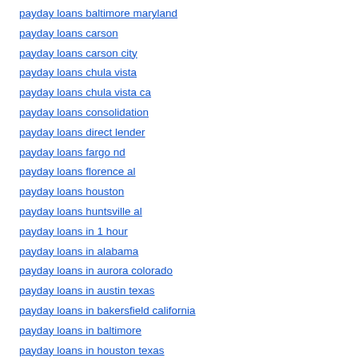payday loans baltimore maryland
payday loans carson
payday loans carson city
payday loans chula vista
payday loans chula vista ca
payday loans consolidation
payday loans direct lender
payday loans fargo nd
payday loans florence al
payday loans houston
payday loans huntsville al
payday loans in 1 hour
payday loans in alabama
payday loans in aurora colorado
payday loans in austin texas
payday loans in bakersfield california
payday loans in baltimore
payday loans in houston texas
payday loans in las vegas